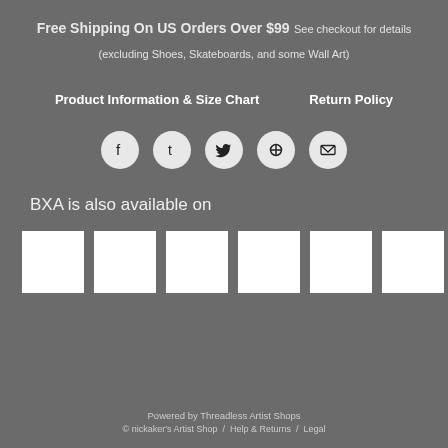Free Shipping On US Orders Over $99 See checkout for details (excluding Shoes, Skateboards, and some Wall Art)
Product Information & Size Chart    Return Policy
[Figure (infographic): Row of 5 social media icon circles: Facebook, Tumblr, Twitter, Pinterest, Email]
BXA is also available on
[Figure (infographic): Six white square placeholder boxes representing store logos]
Powered by Threadless Artist Shops
© nickaker's Artist Shop /  Help & Returns /  Legal